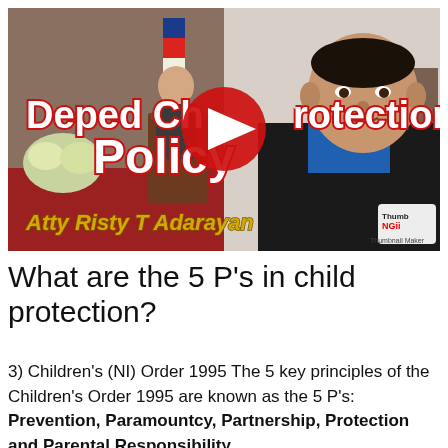[Figure (screenshot): YouTube video thumbnail showing two men — one speaking at a podium with a Philippine flag in the background, and another in a blue shirt and black blazer. Overlaid text reads 'Deped Child Protection Policy' in bold white with red stroke. At the bottom, stylized gold text reads 'Atty Risty T Adarayan'. A YouTube play button icon is centered. A 'Thumb NGii / Thumbnail Maker' watermark appears in the bottom right.]
What are the 5 P's in child protection?
3) Children's (NI) Order 1995 The 5 key principles of the Children's Order 1995 are known as the 5 P's: Prevention, Paramountcy, Partnership, Protection and Parental Responsibility.